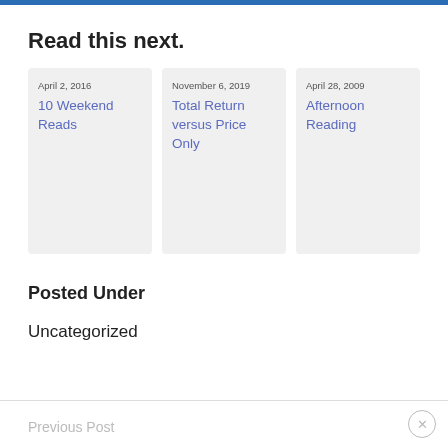Read this next.
April 2, 2016 — 10 Weekend Reads
November 6, 2019 — Total Return versus Price Only
April 28, 2009 — Afternoon Reading
Posted Under
Uncategorized
Previous Post